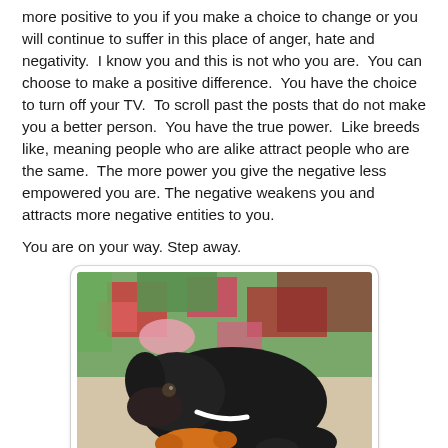more positive to you if you make a choice to change or you will continue to suffer in this place of anger, hate and negativity. I know you and this is not who you are. You can choose to make a positive difference. You have the choice to turn off your TV. To scroll past the posts that do not make you a better person. You have the true power. Like breeds like, meaning people who are alike attract people who are the same. The more power you give the negative less empowered you are. The negative weakens you and attracts more negative entities to you.
You are on your way. Step away.
[Figure (photo): A black dog lying on a carpet or rug, chewing on an orange toy, with colorful fabric/wrapping paper visible in the background.]